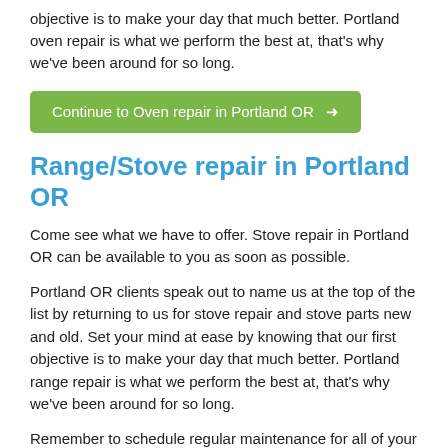objective is to make your day that much better. Portland oven repair is what we perform the best at, that's why we've been around for so long.
Continue to Oven repair in Portland OR →
Range/Stove repair in Portland OR
Come see what we have to offer. Stove repair in Portland OR can be available to you as soon as possible.
Portland OR clients speak out to name us at the top of the list by returning to us for stove repair and stove parts new and old. Set your mind at ease by knowing that our first objective is to make your day that much better. Portland range repair is what we perform the best at, that's why we've been around for so long.
Remember to schedule regular maintenance for all of your major appliances including your stove. It is important to